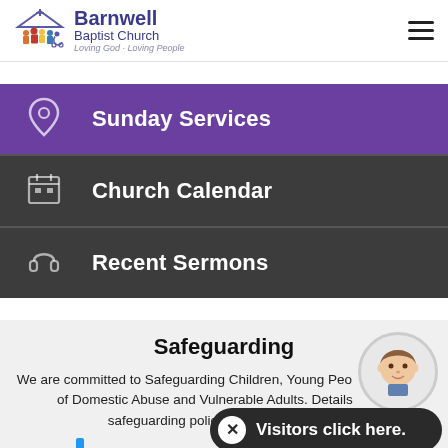[Figure (logo): Barnwell Baptist Church logo with church icon showing people silhouettes under a roof with cross]
Sunday Services
Church Calendar
Recent Sermons
Safeguarding
We are committed to Safeguarding Children, Young People, Victims of Domestic Abuse and Vulnerable Adults. Details of our safeguarding policy can be found here.
[Figure (illustration): Chat widget with avatar and 'Visitors click here.' button]